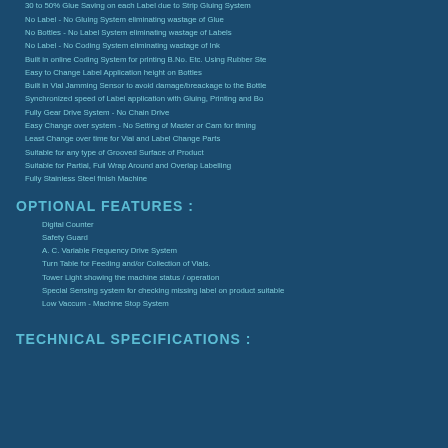30 to 50% Glue Saving on each Label due to Strip Gluing System
No Label - No Gluing System eliminating wastage of Glue
No Bottles - No Label System eliminating wastage of Labels
No Label - No Coding System eliminating wastage of Ink
Built in online Coding System for printing B.No. Etc. Using Rubber Ste...
Easy to Change Label Application height on Bottles
Built in Vial Jamming Sensor to avoid damage/breackage to the Bottle...
Synchronized speed of Label application with Gluing, Printing and Bo...
Fully Gear Drive System - No Chain Drive
Easy Change over system - No Setting of Master or Cam for timing
Least Change over time for Vial and Label Change Parts
Suitable for any type of Grooved Surface of Product
Suitable for Partial, Full Wrap Around and Overlap Labelling
Fully Stainless Steel finish Machine
OPTIONAL FEATURES :
Digital Counter
Safety Guard
A. C. Variable Frequency Drive System
Turn Table for Feeding and/or Collection of Vials.
Tower Light showing the machine status / operation
Special Sensing system for checking missing label on product suitable...
Low Vaccum - Machine Stop System
TECHNICAL SPECIFICATIONS :